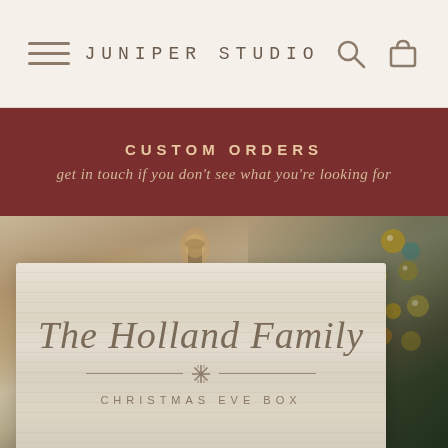JUNIPER STUDIO
CUSTOM ORDERS
get in touch if you don't see what you're looking for
[Figure (photo): Hero photo of a personalized Christmas Eve box labeled 'The Holland Family CHRISTMAS EVE BOX' on a wood surface, with a warm bokeh background showing fairy lights, a lantern, and a Christmas tree with gold ornaments.]